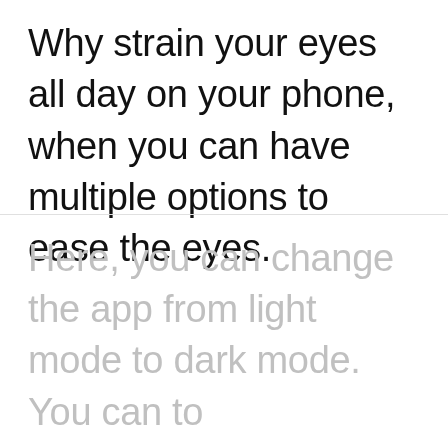Why strain your eyes all day on your phone, when you can have multiple options to ease the eyes.
Here, you can change the app from light mode to dark mode. You can to